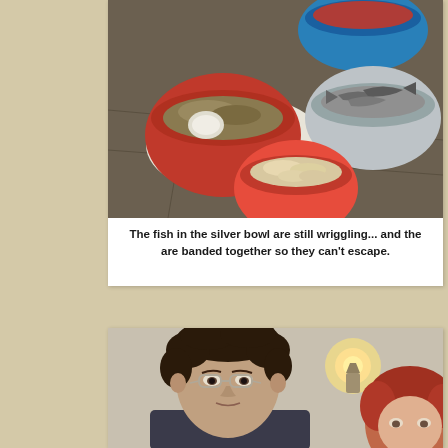[Figure (photo): Photo of fish and seafood in multiple colorful bowls on a tiled surface. A red bowl contains what appears to be marinated mushrooms or seaweed with an onion, a blue bowl has red contents, a silver metal bowl has live fish, and a red bowl in the center has white fish pieces.]
The fish in the silver bowl are still wriggling... and the are banded together so they can't escape.
[Figure (photo): Photo of two people: a man with curly dark hair wearing glasses, and a woman with red hair, photographed indoors with a warm wall light visible behind them.]